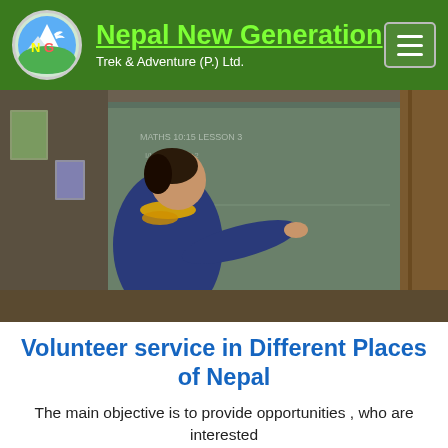Nepal New Generation Trek & Adventure (P.) Ltd.
[Figure (photo): A person wearing a yellow flower garland and blue jacket writing on a large blackboard in a classroom setting in Nepal]
Volunteer service in Different Places of Nepal
The main objective is to provide opportunities , who are interested